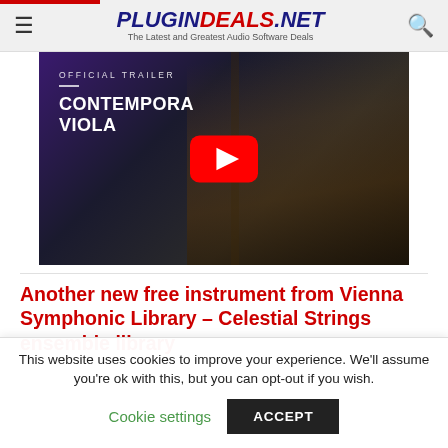PLUGINDEALS.NET — The Latest and Greatest Audio Software Deals
[Figure (screenshot): YouTube video thumbnail for 'Contemporary Viola' official trailer, showing a violin/viola being played with a YouTube play button overlay]
Another new free instrument from Vienna Symphonic Library – Celestial Strings ensemble library
This website uses cookies to improve your experience. We'll assume you're ok with this, but you can opt-out if you wish.
Cookie settings   ACCEPT